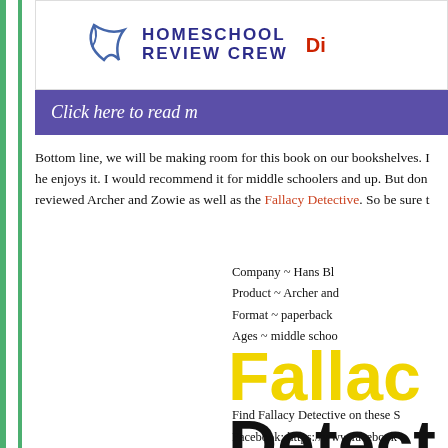[Figure (logo): Homeschool Review Crew logo with bird/arrow graphic and red 'Di' text partially visible]
[Figure (other): Purple banner with text 'Click here to read m...']
Bottom line, we will be making room for this book on our bookshelves. he enjoys it. I would recommend it for middle schoolers and up. But don reviewed Archer and Zowie as well as the Fallacy Detective. So be sure t
Company ~ Hans Bl
Product ~ Archer and
Format ~ paperback
Ages ~ middle schoo
[Figure (illustration): Large bold text 'Fallacy Detective' in yellow and black]
Find Fallacy Detective on these S
Facebook: https://www.facebook...